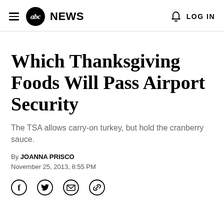abc NEWS  LOG IN
Which Thanksgiving Foods Will Pass Airport Security
The TSA allows carry-on turkey, but hold the cranberry sauce.
By JOANNA PRISCO
November 25, 2013, 8:55 PM
[Figure (other): Social sharing icons: Facebook, Twitter, Email, Link]